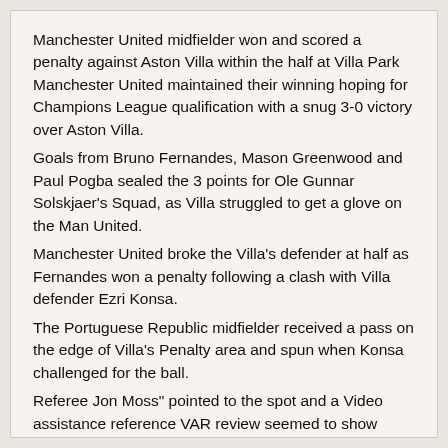Manchester United midfielder won and scored a penalty against Aston Villa within the half at Villa Park Manchester United maintained their winning hoping for Champions League qualification with a snug 3-0 victory over Aston Villa.
Goals from Bruno Fernandes, Mason Greenwood and Paul Pogba sealed the 3 points for Ole Gunnar Solskjaer's Squad, as Villa struggled to get a glove on the Man United.
Manchester United broke the Villa's defender at half as Fernandes won a penalty following a clash with Villa defender Ezri Konsa.
The Portuguese Republic midfielder received a pass on the edge of Villa's Penalty area and spun when Konsa challenged for the ball.
Referee Jon Moss" pointed to the spot and a Video assistance reference VAR review seemed to show Fernandes catching Konsa with his trailing leg 1st. However, the referee and the Video assist reference stood on a decision to awarded the penalty and